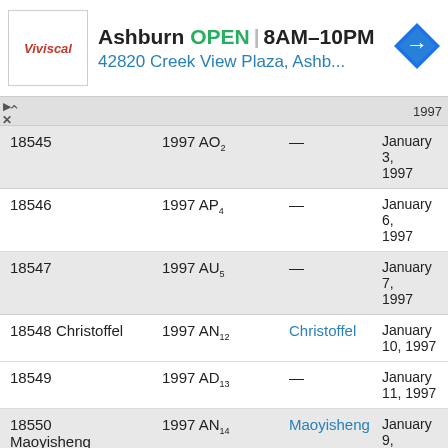[Figure (screenshot): Ad banner for Viviscal showing Ashburn store open 8AM-10PM at 42820 Creek View Plaza, Ashb...]
| Number/Name | Provisional | Named | Date |
| --- | --- | --- | --- |
| 18545 | 1997 AO₂ | — | January 3, 1997 |
| 18546 | 1997 AP₄ | — | January 6, 1997 |
| 18547 | 1997 AU₅ | — | January 7, 1997 |
| 18548 Christoffel | 1997 AN₁₂ | Christoffel | January 10, 1997 |
| 18549 | 1997 AD₁₃ | — | January 11, 1997 |
| 18550 Maoyisheng | 1997 AN₁₄ | Maoyisheng | January 9, 1997 |
| 18551 Bovet | 1997 AQ₁₇ | Bovet | January 13, 1997 |
| 18552 | 1997 AM₂₁ | — | January 13, 1997 |
| 18553 Kinkakuji | 1997 AZ₂₁ | Kinkakuji | January 6, 1997 |